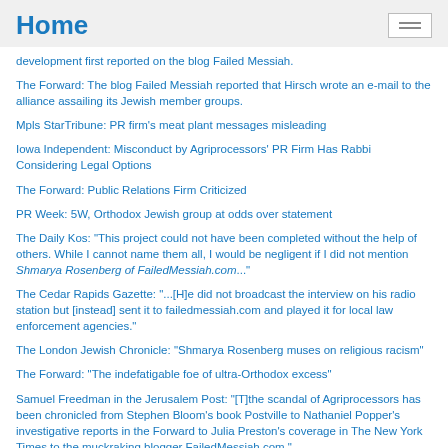Home
development first reported on the blog Failed Messiah.
The Forward: The blog Failed Messiah reported that Hirsch wrote an e-mail to the alliance assailing its Jewish member groups.
Mpls StarTribune: PR firm's meat plant messages misleading
Iowa Independent: Misconduct by Agriprocessors' PR Firm Has Rabbi Considering Legal Options
The Forward: Public Relations Firm Criticized
PR Week: 5W, Orthodox Jewish group at odds over statement
The Daily Kos: "This project could not have been completed without the help of others. While I cannot name them all, I would be negligent if I did not mention Shmarya Rosenberg of FailedMessiah.com..."
The Cedar Rapids Gazette: "...[H]e did not broadcast the interview on his radio station but [instead] sent it to failedmessiah.com and played it for local law enforcement agencies."
The London Jewish Chronicle: "Shmarya Rosenberg muses on religious racism"
The Forward: "The indefatigable foe of ultra-Orthodox excess"
Samuel Freedman in the Jerusalem Post: "[T]the scandal of Agriprocessors has been chronicled from Stephen Bloom's book Postville to Nathaniel Popper's investigative reports in the Forward to Julia Preston's coverage in The New York Times to the muckraking blogger FailedMessiah.com."